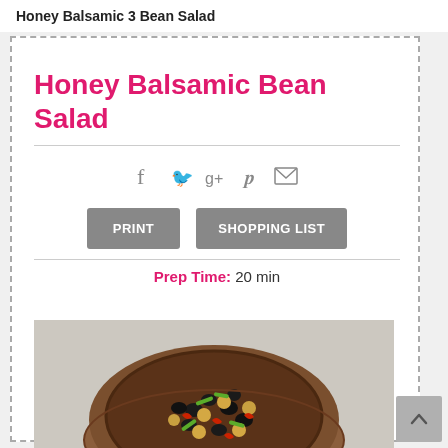Honey Balsamic 3 Bean Salad
Honey Balsamic Bean Salad
[Figure (infographic): Social media sharing icons: Facebook (f), Twitter (bird), Google+ (g+), Pinterest (p), Email (envelope)]
[Figure (infographic): Two buttons: PRINT and SHOPPING LIST]
Prep Time: 20 min
[Figure (photo): A wooden bowl filled with a bean salad containing black beans, chickpeas, green beans, and red pepper pieces, viewed from above on a light background.]